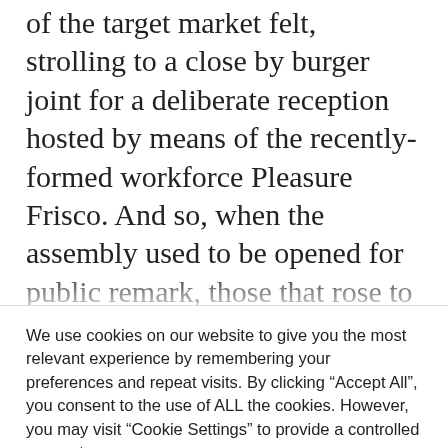of the target market felt, strolling to a close by burger joint for a deliberate reception hosted by means of the recently-formed workforce Pleasure Frisco. And so, when the assembly used to be opened for public remark, those that rose to reply to the proclamation got here nearly solely from the correct, as one individual after every other were given as much as condemn the popularity of Pleasure Month and the LGBTQ
We use cookies on our website to give you the most relevant experience by remembering your preferences and repeat visits. By clicking “Accept All”, you consent to the use of ALL the cookies. However, you may visit “Cookie Settings” to provide a controlled consent.